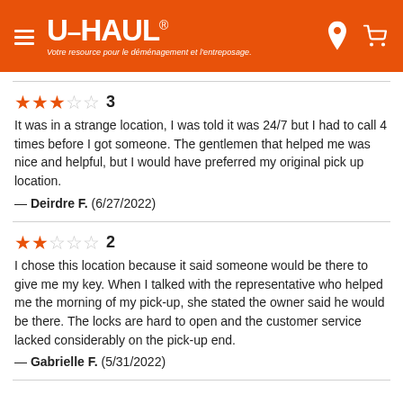U-HAUL® Votre resource pour le déménagement et l'entreposage.
It was in a strange location, I was told it was 24/7 but I had to call 4 times before I got someone. The gentlemen that helped me was nice and helpful, but I would have preferred my original pick up location.
— Deirdre F. (6/27/2022)
Rating: 3
I chose this location because it said someone would be there to give me my key. When I talked with the representative who helped me the morning of my pick-up, she stated the owner said he would be there. The locks are hard to open and the customer service lacked considerably on the pick-up end.
— Gabrielle F. (5/31/2022)
Rating: 2